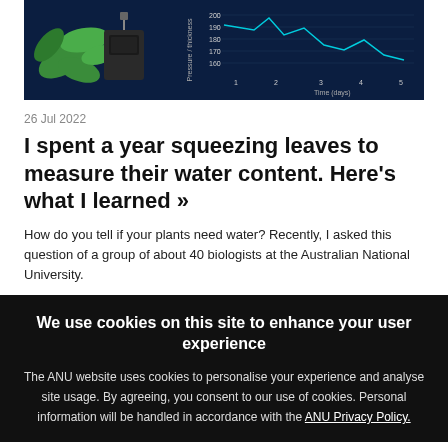[Figure (photo): Dark blue scientific infographic showing a plant monitoring device with leaves and a line chart showing pressure/thickness measurements over 5 days]
26 Jul 2022
I spent a year squeezing leaves to measure their water content. Here's what I learned »
How do you tell if your plants need water? Recently, I asked this question of a group of about 40 biologists at the Australian National University.
We use cookies on this site to enhance your user experience
The ANU website uses cookies to personalise your experience and analyse site usage. By agreeing, you consent to our use of cookies. Personal information will be handled in accordance with the ANU Privacy Policy.